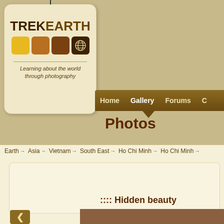[Figure (logo): TrekEarth logo tag with TREK EARTH text, colored squares (yellow, brown, dark brown, darkest brown with world map icon), tagline 'Learning about the world through photography']
Home    Gallery    Forums    C...
Photos
Earth → Asia → Vietnam → South East → Ho Chi Minh → Ho Chi Minh →
:::: Hidden beauty